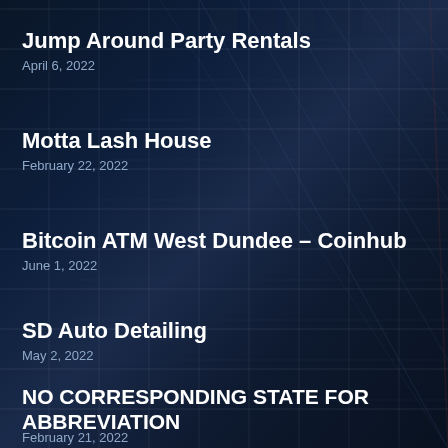Jump Around Party Rentals
April 6, 2022
Motta Lash House
February 22, 2022
Bitcoin ATM West Dundee – Coinhub
June 1, 2022
SD Auto Detailing
May 2, 2022
NO CORRESPONDING STATE FOR ABBREVIATION
February 21, 2022